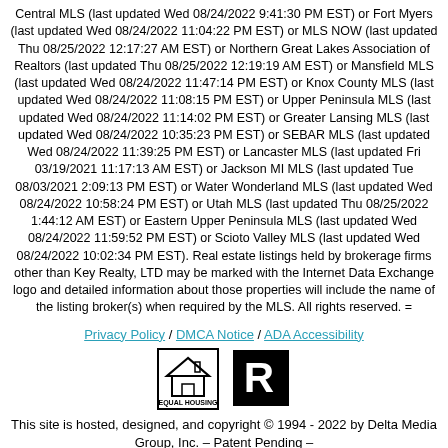Central MLS (last updated Wed 08/24/2022 9:41:30 PM EST) or Fort Myers (last updated Wed 08/24/2022 11:04:22 PM EST) or MLS NOW (last updated Thu 08/25/2022 12:17:27 AM EST) or Northern Great Lakes Association of Realtors (last updated Thu 08/25/2022 12:19:19 AM EST) or Mansfield MLS (last updated Wed 08/24/2022 11:47:14 PM EST) or Knox County MLS (last updated Wed 08/24/2022 11:08:15 PM EST) or Upper Peninsula MLS (last updated Wed 08/24/2022 11:14:02 PM EST) or Greater Lansing MLS (last updated Wed 08/24/2022 10:35:23 PM EST) or SEBAR MLS (last updated Wed 08/24/2022 11:39:25 PM EST) or Lancaster MLS (last updated Fri 03/19/2021 11:17:13 AM EST) or Jackson MI MLS (last updated Tue 08/03/2021 2:09:13 PM EST) or Water Wonderland MLS (last updated Wed 08/24/2022 10:58:24 PM EST) or Utah MLS (last updated Thu 08/25/2022 1:44:12 AM EST) or Eastern Upper Peninsula MLS (last updated Wed 08/24/2022 11:59:52 PM EST) or Scioto Valley MLS (last updated Wed 08/24/2022 10:02:34 PM EST). Real estate listings held by brokerage firms other than Key Realty, LTD may be marked with the Internet Data Exchange logo and detailed information about those properties will include the name of the listing broker(s) when required by the MLS. All rights reserved.
Privacy Policy / DMCA Notice / ADA Accessibility
[Figure (logo): Equal Housing Opportunity logo and REALTOR logo]
This site is hosted, designed, and copyright © 1994 - 2022 by Delta Media Group, Inc. – Patent Pending –
Agents Only Login   Fair Housing Notice